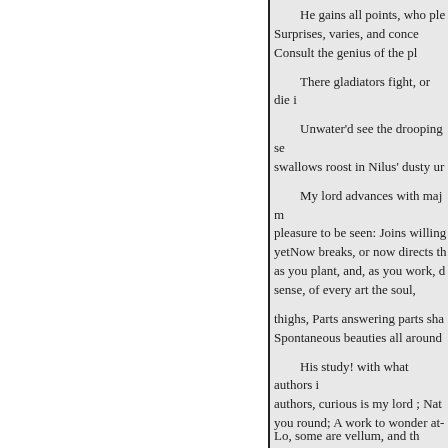He gains all points, who ple
Surprises, varies, and conce
Consult the genius of the pl
There gladiators fight, or die i
Unwater'd see the drooping se swallows roost in Nilus' dusty ur
My lord advances with maj m pleasure to be seen: Joins willing yetNow breaks, or now directs th as you plant, and, as you work, d sense, of every art the soul,
thighs, Parts answering parts sha Spontaneous beauties all around
His study! with what authors i authors, curious is my lord ; Nat you round; A work to wonder at-
Lo, some are vellum, and th